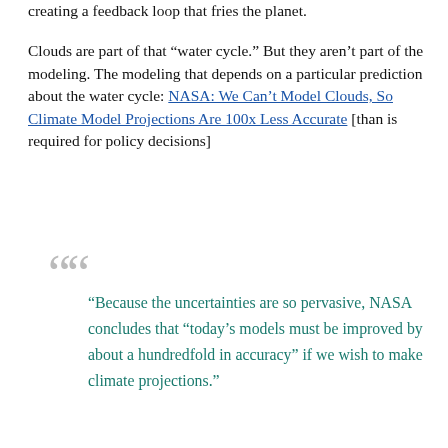creating a feedback loop that fries the planet.
Clouds are part of that “water cycle.” But they aren’t part of the modeling. The modeling that depends on a particular prediction about the water cycle: NASA: We Can’t Model Clouds, So Climate Model Projections Are 100x Less Accurate [than is required for policy decisions]
“Because the uncertainties are so pervasive, NASA concludes that “today’s models must be improved by about a hundredfold in accuracy” if we wish to make climate projections.”